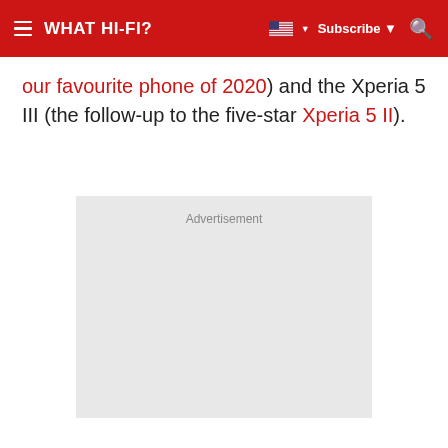WHAT HI-FI?   Subscribe
our favourite phone of 2020) and the Xperia 5 III (the follow-up to the five-star Xperia 5 II).
[Figure (other): Advertisement placeholder box with light gray background]